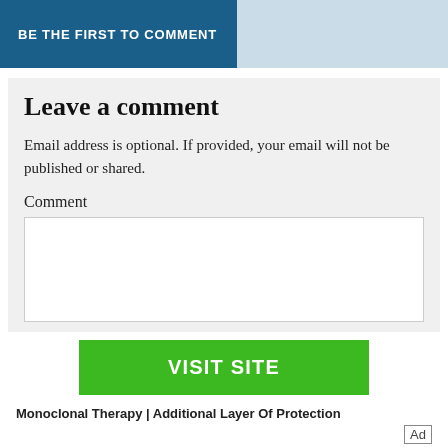BE THE FIRST TO COMMENT
Leave a comment
Email address is optional. If provided, your email will not be published or shared.
Comment
[Figure (screenshot): White comment textarea input box]
[Figure (screenshot): Green button labeled VISIT SITE]
Monoclonal Therapy | Additional Layer Of Protection
Ad